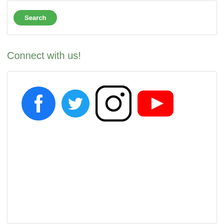[Figure (screenshot): Search button (green rounded button with white text 'Search')]
Connect with us!
[Figure (illustration): Social media icons row: Facebook (blue circle with f), Twitter (blue bird), Instagram (black rounded square with camera), YouTube (red rectangle with white play triangle)]